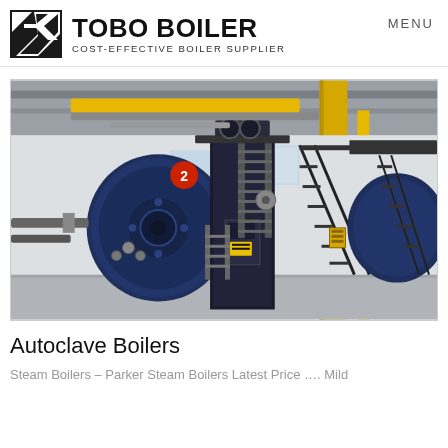TOBO BOILER — COST-EFFECTIVE BOILER SUPPLIER — MENU
[Figure (photo): Industrial boiler room interior showing large blue steam boilers with a red circle labeled '2', metal staircases, yellow structural columns and pipes, and overhead crane rails. Two boiler units visible side by side in a large industrial facility.]
Autoclave Boilers
Steam Boilers – Parker Steam Boilers Latest Price …. Mild